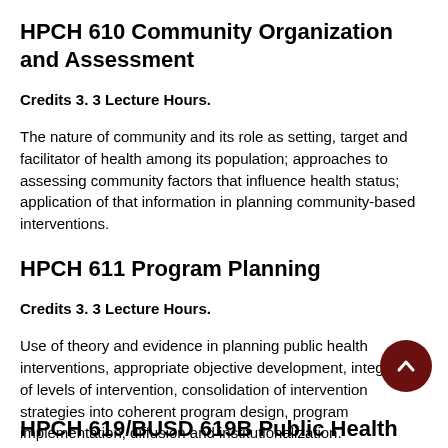HPCH 610 Community Organization and Assessment
Credits 3. 3 Lecture Hours.
The nature of community and its role as setting, target and facilitator of health among its population; approaches to assessing community factors that influence health status; application of that information in planning community-based interventions.
HPCH 611 Program Planning
Credits 3. 3 Lecture Hours.
Use of theory and evidence in planning public health interventions, appropriate objective development, integration of levels of intervention, consolidation of intervention strategies into coherent program design, program implementation, diffusion and institutionalization.
HPCH 619/BUSD 619B Public Health